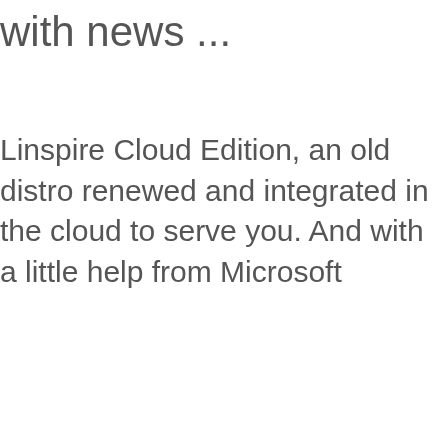with news ...
Linspire Cloud Edition, an old distro renewed and integrated in the cloud to serve you. And with a little help from Microsoft